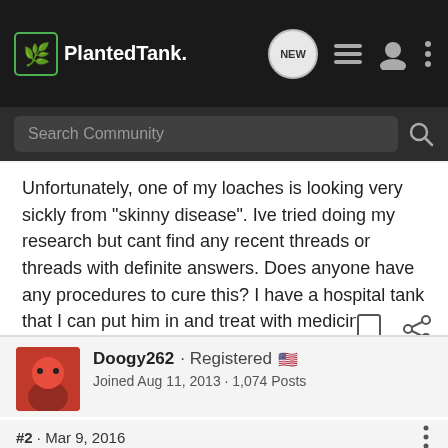PlantedTank — navigation bar with search
Unfortunately, one of my loaches is looking very sickly from "skinny disease". Ive tried doing my research but cant find any recent threads or threads with definite answers. Does anyone have any procedures to cure this? I have a hospital tank that I can put him in and treat with medicine. I just don't know what to use. I also read that due to the fact the loaches are scaleless fish you only use half the desired medicine. Can anyone please help me with this before I lose one of my beloved loaches.
Doogy262 · Registered 🇺🇸
Joined Aug 11, 2013 · 1,074 Posts
#2 · Mar 9, 2016